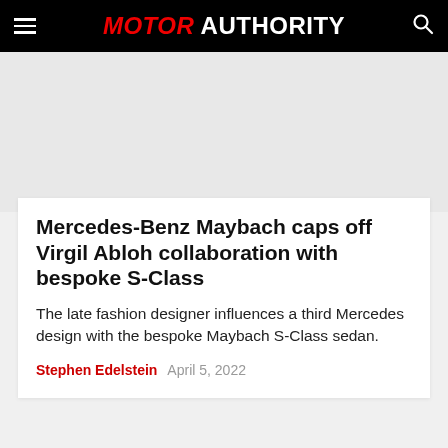MOTOR AUTHORITY
Mercedes-Benz Maybach caps off Virgil Abloh collaboration with bespoke S-Class
The late fashion designer influences a third Mercedes design with the bespoke Maybach S-Class sedan.
Stephen Edelstein   April 5, 2022